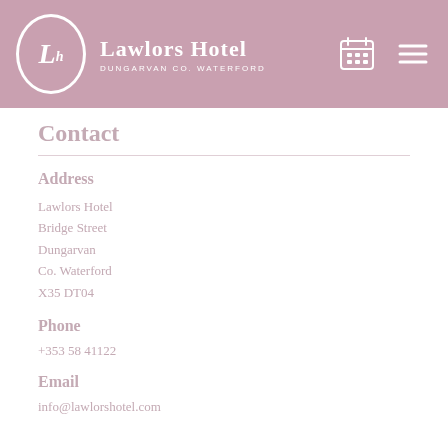Lawlors Hotel — DUNGARVAN CO. WATERFORD
Contact
Address
Lawlors Hotel
Bridge Street
Dungarvan
Co. Waterford
X35 DT04
Phone
+353 58 41122
Email
info@lawlorshotel.com